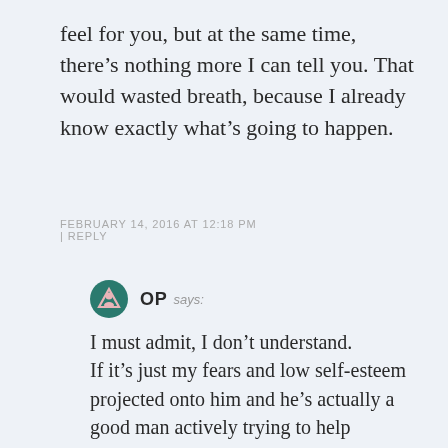feel for you, but at the same time, there’s nothing more I can tell you. That would wasted breath, because I already know exactly what’s going to happen.
FEBRUARY 14, 2016 AT 12:18 PM | REPLY
OP says:
I must admit, I don’t understand.
If it’s just my fears and low self-esteem projected onto him and he’s actually a good man actively trying to help